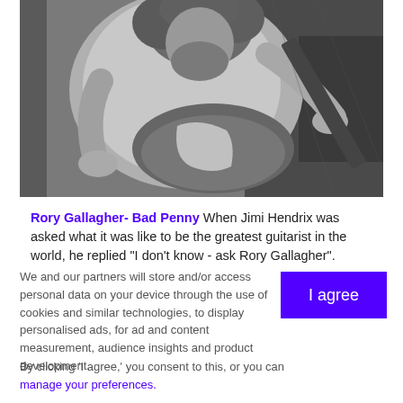[Figure (photo): Black and white photograph of a male guitarist with long curly hair playing an electric guitar (Fender Stratocaster style), wearing a light-colored shirt, shot from above-front angle]
Rory Gallagher- Bad Penny When Jimi Hendrix was asked what it was like to be the greatest guitarist in the world, he replied "I don't know - ask Rory Gallagher". Gallagher
We and our partners will store and/or access personal data on your device through the use of cookies and similar technologies, to display personalised ads, for ad and content measurement, audience insights and product development.
By clicking 'I agree,' you consent to this, or you can manage your preferences.